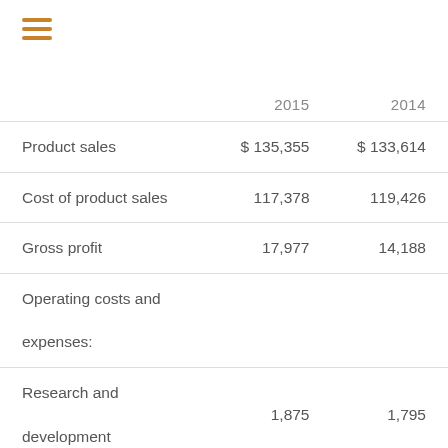[Figure (other): Hamburger menu icon with three horizontal orange bars]
|  | 2015 | 2014 |
| --- | --- | --- |
| Product sales | $ 135,355 | $ 133,614 |
| Cost of product sales | 117,378 | 119,426 |
| Gross profit | 17,977 | 14,188 |
| Operating costs and expenses: |  |  |
| Research and development | 1,875 | 1,795 |
| Selling, general and | 12,165 | 8,859 |